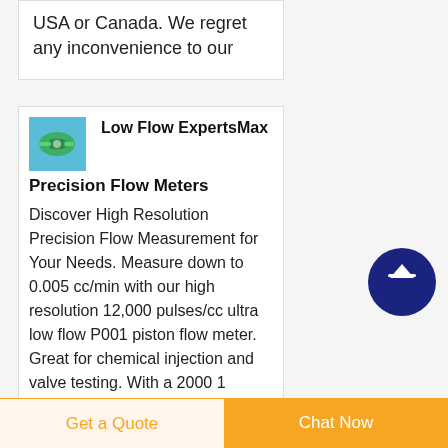USA or Canada. We regret any inconvenience to our
Low Flow ExpertsMax Precision Flow Meters
Discover High Resolution Precision Flow Measurement for Your Needs. Measure down to 0.005 cc/min with our high resolution 12,000 pulses/cc ultra low flow P001 piston flow meter. Great for chemical injection and valve testing. With a 2000 1
[Figure (photo): Small product photo showing a green flow meter component on blue background]
[Figure (other): Dark blue circular scroll-to-top button with upward arrow icon]
Get a Quote
Chat Now